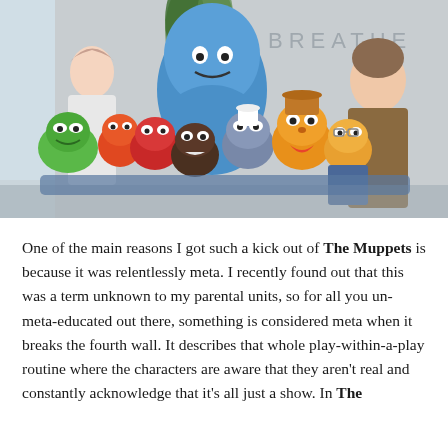[Figure (photo): Group photo of the Muppets characters including Kermit the Frog, Fozzie Bear, and other Muppets, along with two human actors. A large blue furry monster character stands in the back center. The word BREATHE is partially visible on the wall behind them.]
One of the main reasons I got such a kick out of The Muppets is because it was relentlessly meta. I recently found out that this was a term unknown to my parental units, so for all you un-meta-educated out there, something is considered meta when it breaks the fourth wall. It describes that whole play-within-a-play routine where the characters are aware that they aren't real and constantly acknowledge that it's all just a show. In The